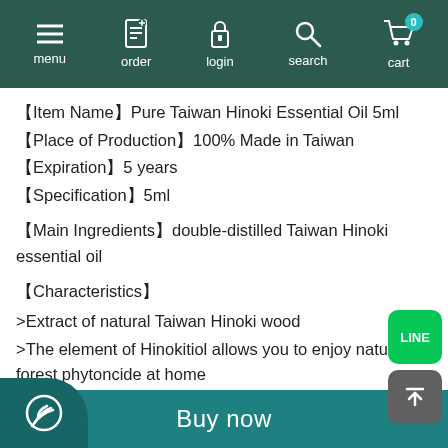menu | order | login | search | cart (0)
【Item Name】Pure Taiwan Hinoki Essential Oil 5ml
【Place of Production】100% Made in Taiwan
【Expiration】5 years
【Specification】5ml
【Main Ingredients】double-distilled Taiwan Hinoki essential oil
【Characteristics】
>Extract of natural Taiwan Hinoki wood
>The element of Hinokitiol allows you to enjoy natural forest phytoncide at home
◎Spread fragrance: Can be used with a variety of
Buy now